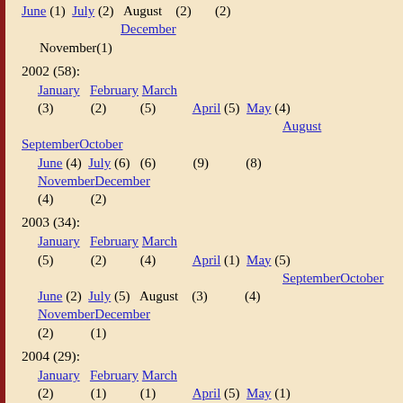June (1) July (2) August (2) (2) December November (1)
2002 (58): January (3) February (2) March (5) April (5) May (4) June (4) July (6) August (6) September (9) October (8) November (4) December (2)
2003 (34): January (5) February (2) March (4) April (1) May (5) June (2) July (5) August September (3) October (4) November (2) December (1)
2004 (29): January (2) February (1) March (1) April (5) May (1) June July (2) August (2) September (2) October (5) November (4) December (4)
2005 (55): January February March